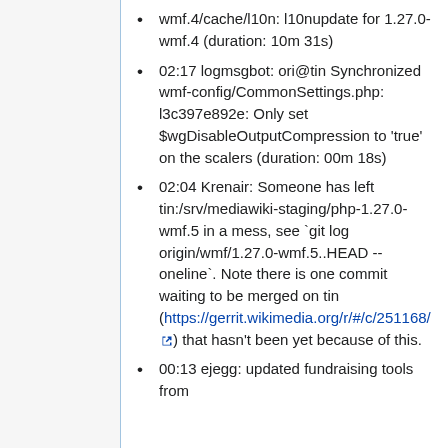wmf.4/cache/l10n: l10nupdate for 1.27.0-wmf.4 (duration: 10m 31s)
02:17 logmsgbot: ori@tin Synchronized wmf-config/CommonSettings.php: l3c397e892e: Only set $wgDisableOutputCompression to 'true' on the scalers (duration: 00m 18s)
02:04 Krenair: Someone has left tin:/srv/mediawiki-staging/php-1.27.0-wmf.5 in a mess, see `git log origin/wmf/1.27.0-wmf.5..HEAD --oneline`. Note there is one commit waiting to be merged on tin (https://gerrit.wikimedia.org/r/#/c/251168/) that hasn't been yet because of this.
00:13 ejegg: updated fundraising tools from